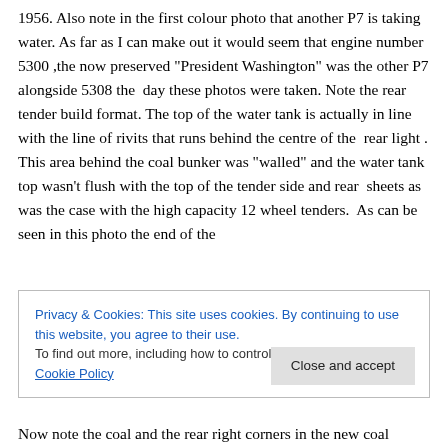1956. Also note in the first colour photo that another P7 is taking water. As far as I can make out it would seem that engine number 5300 ,the now preserved “President Washington” was the other P7 alongside 5308 the day these photos were taken. Note the rear tender build format. The top of the water tank is actually in line with the line of rivits that runs behind the centre of the rear light . This area behind the coal bunker was “walled” and the water tank top wasn’t flush with the top of the tender side and rear sheets as was the case with the high capacity 12 wheel tenders. As can be seen in this photo the end of the
Privacy & Cookies: This site uses cookies. By continuing to use this website, you agree to their use.
To find out more, including how to control cookies, see here: Cookie Policy
Close and accept
Now note the coal and the rear right corners in the new coal